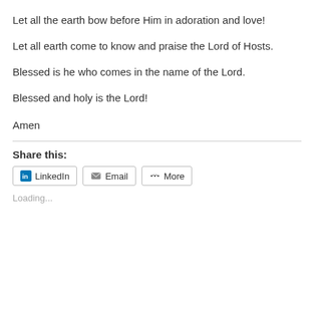Let all the earth bow before Him in adoration and love!
Let all earth come to know and praise the Lord of Hosts.
Blessed is he who comes in the name of the Lord.
Blessed and holy is the Lord!
Amen
Share this:
LinkedIn  Email  More
Loading...